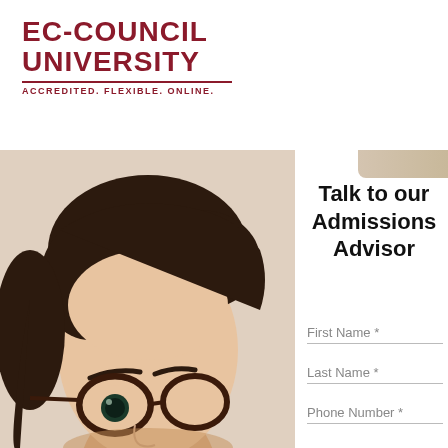[Figure (logo): EC-Council University logo with text EC-COUNCIL UNIVERSITY and tagline ACCREDITED. FLEXIBLE. ONLINE. in dark red/maroon color]
[Figure (photo): Close-up photo of a young woman with dark hair and round tortoiseshell glasses, cropped to show upper half of face]
Talk to our Admissions Advisor
First Name *
Last Name *
Phone Number *